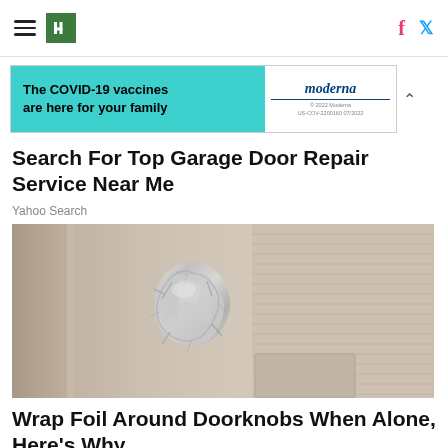HuffPost navigation with hamburger menu, logo, Facebook and Twitter icons
[Figure (infographic): Advertisement banner for Moderna COVID-19 vaccines: teal left side with text 'The COVID-19 vaccines are here for your family', white right side with Moderna logo in navy blue italic text]
Search For Top Garage Door Repair Service Near Me
Yahoo Search
[Figure (photo): Close-up photo of a door knob wrapped in crumpled aluminum foil, door is beige/tan colored]
Wrap Foil Around Doorknobs When Alone, Here's Why